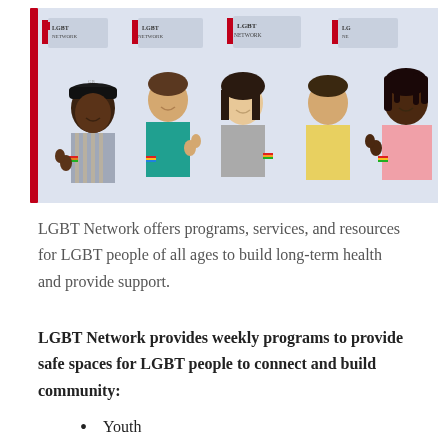[Figure (photo): Group of five diverse LGBT Network youth giving thumbs up in front of LGBT Network banner backdrop]
LGBT Network offers programs, services, and resources for LGBT people of all ages to build long-term health and provide support.
LGBT Network provides weekly programs to provide safe spaces for LGBT people to connect and build community:
Youth